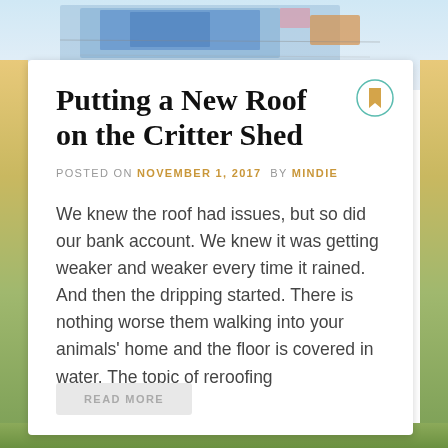[Figure (photo): Top portion of page showing a background photo of a shed roof with tarps/materials and a farm landscape with fields and sky on the sides.]
Putting a New Roof on the Critter Shed
POSTED ON NOVEMBER 1, 2017 BY MINDIE
We knew the roof had issues, but so did our bank account. We knew it was getting weaker and weaker every time it rained. And then the dripping started. There is nothing worse them walking into your animals' home and the floor is covered in water. The topic of reroofing
READ MORE